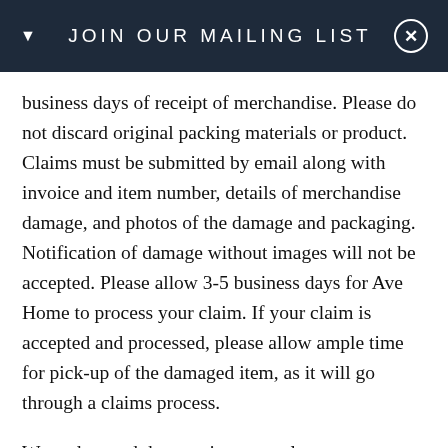JOIN OUR MAILING LIST
business days of receipt of merchandise. Please do not discard original packing materials or product. Claims must be submitted by email along with invoice and item number, details of merchandise damage, and photos of the damage and packaging. Notification of damage without images will not be accepted. Please allow 3-5 business days for Ave Home to process your claim. If your claim is accepted and processed, please allow ample time for pick-up of the damaged item, as it will go through a claims process.
We understand that receivers, employees, etc. may be receiving and opening an order. Please be sure to relay our policies to anyone who may be receiving your order so they may notify the appropriate person to contact Ave Home within the damage claim window. If damages are not reported within the claim window, we cannot guarantee a